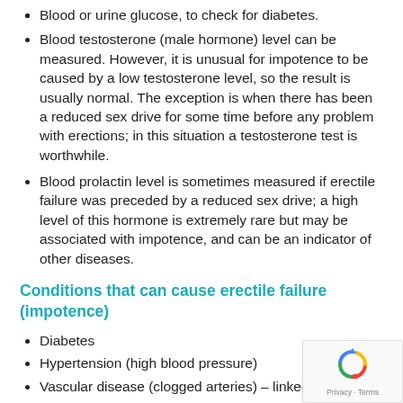Blood or urine glucose, to check for diabetes.
Blood testosterone (male hormone) level can be measured. However, it is unusual for impotence to be caused by a low testosterone level, so the result is usually normal. The exception is when there has been a reduced sex drive for some time before any problem with erections; in this situation a testosterone test is worthwhile.
Blood prolactin level is sometimes measured if erectile failure was preceded by a reduced sex drive; a high level of this hormone is extremely rare but may be associated with impotence, and can be an indicator of other diseases.
Conditions that can cause erectile failure (impotence)
Diabetes
Hypertension (high blood pressure)
Vascular disease (clogged arteries) – linked with